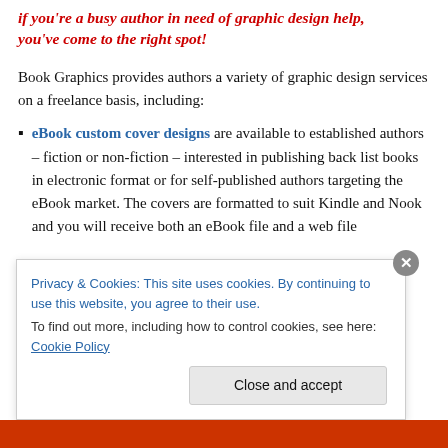if you're a busy author in need of graphic design help, you've come to the right spot!
Book Graphics provides authors a variety of graphic design services on a freelance basis, including:
eBook custom cover designs are available to established authors – fiction or non-fiction – interested in publishing back list books in electronic format or for self-published authors targeting the eBook market. The covers are formatted to suit Kindle and Nook and you will receive both an eBook file and a web file
Privacy & Cookies: This site uses cookies. By continuing to use this website, you agree to their use.
To find out more, including how to control cookies, see here: Cookie Policy
Close and accept